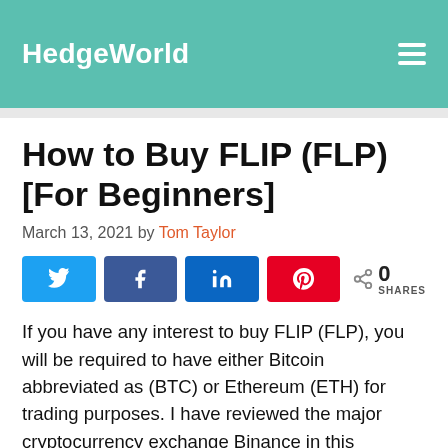HedgeWorld
How to Buy FLIP (FLP) [For Beginners]
March 13, 2021 by Tom Taylor
[Figure (other): Social share buttons: Twitter, Facebook, LinkedIn, Pinterest, and a share count showing 0 SHARES]
If you have any interest to buy FLIP (FLP), you will be required to have either Bitcoin abbreviated as (BTC) or Ethereum (ETH) for trading purposes. I have reviewed the major cryptocurrency exchange Binance in this